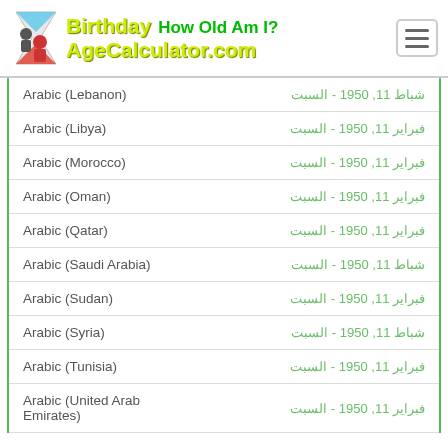Birthday AgeCalculator.com How Old Am I?
| Language | Date |
| --- | --- |
| Arabic (Lebanon) | شباط 11, 1950 - السبت |
| Arabic (Libya) | فبراير 11, 1950 - السبت |
| Arabic (Morocco) | فبراير 11, 1950 - السبت |
| Arabic (Oman) | فبراير 11, 1950 - السبت |
| Arabic (Qatar) | فبراير 11, 1950 - السبت |
| Arabic (Saudi Arabia) | شباط 11, 1950 - السبت |
| Arabic (Sudan) | فبراير 11, 1950 - السبت |
| Arabic (Syria) | شباط 11, 1950 - السبت |
| Arabic (Tunisia) | فبراير 11, 1950 - السبت |
| Arabic (United Arab Emirates) | فبراير 11, 1950 - السبت |